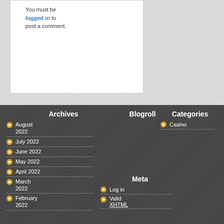You must be logged in to post a comment.
Archives
August 2022
July 2022
June 2022
May 2022
April 2022
March 2022
February 2022
Blogroll
Categories
Casino
Meta
Log in
Valid XHTML